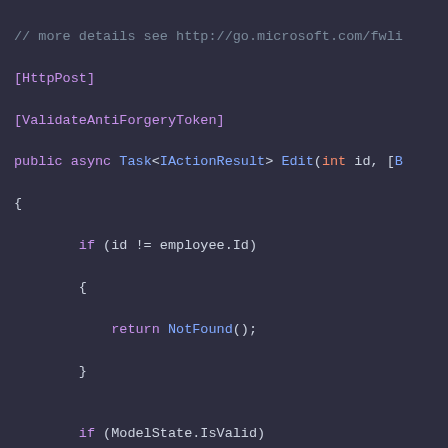[Figure (screenshot): Code editor screenshot showing C# ASP.NET MVC controller action method with syntax highlighting on dark background. Code includes [HttpPost], [ValidateAntiForgeryToken] attributes, public async Task<IActionResult> Edit method with try/catch for DbUpdateConcurrencyException.]